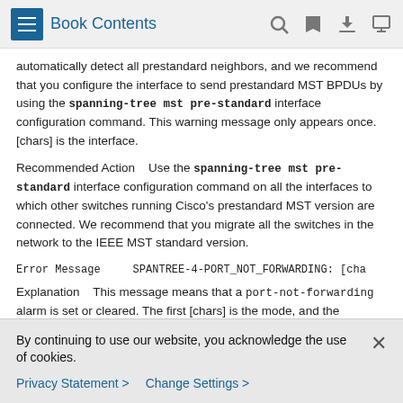Book Contents
automatically detect all prestandard neighbors, and we recommend that you configure the interface to send prestandard MST BPDUs by using the spanning-tree mst pre-standard interface configuration command. This warning message only appears once. [chars] is the interface.
Recommended Action    Use the spanning-tree mst pre-standard interface configuration command on all the interfaces to which other switches running Cisco's prestandard MST version are connected. We recommend that you migrate all the switches in the network to the IEEE MST standard version.
Error Message    SPANTREE-4-PORT_NOT_FORWARDING: [cha
Explanation    This message means that a port-not-forwarding alarm is set or cleared. The first [chars] is the mode, and the
By continuing to use our website, you acknowledge the use of cookies.
Privacy Statement >    Change Settings >